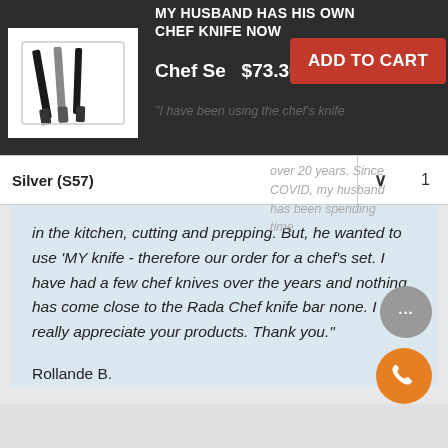MY HUSBAND HAS HIS OWN CHEF KNIFE NOW
[Figure (photo): Chef knife set product image on black and white packaging]
Chef Se  $73.30
ADD TO CART
Silver (S57)
1
"I have been using the chef's knife over 20 years. Since COVID, my husband has been spending time in the kitchen, cutting and prepping. But, he wanted to use 'MY knife - therefore our order for a chef's set. I have had a few chef knives over the years and nothing has come close to the Rada Chef knife bar none. I really appreciate your products. Thank you."
Rollande B.